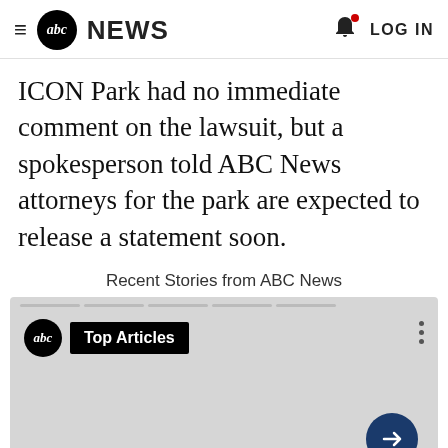abc NEWS   LOG IN
ICON Park had no immediate comment on the lawsuit, but a spokesperson told ABC News attorneys for the park are expected to release a statement soon.
Recent Stories from ABC News
[Figure (screenshot): ABC News Top Articles carousel widget with a dark blue circular arrow button on the lower right]